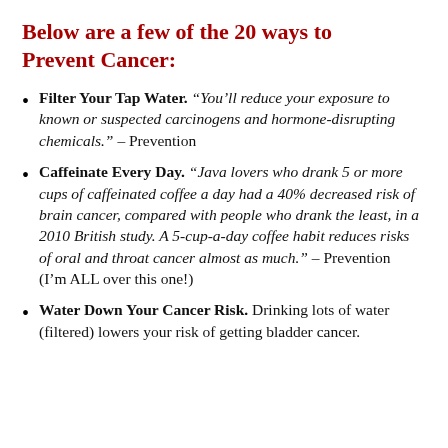Below are a few of the 20 ways to Prevent Cancer:
Filter Your Tap Water. “You’ll reduce your exposure to known or suspected carcinogens and hormone-disrupting chemicals.” – Prevention
Caffeinate Every Day. “Java lovers who drank 5 or more cups of caffeinated coffee a day had a 40% decreased risk of brain cancer, compared with people who drank the least, in a 2010 British study. A 5-cup-a-day coffee habit reduces risks of oral and throat cancer almost as much.” – Prevention (I’m ALL over this one!)
Water Down Your Cancer Risk. Drinking lots of water (filtered) lowers your risk of getting bladder cancer.